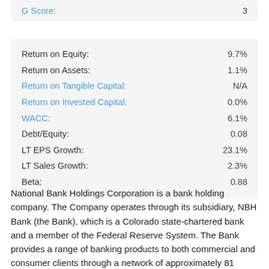| G Score: |  |
| --- | --- |
| G Score: | 3 |
| Metric | Value |
| --- | --- |
| Return on Equity: | 9.7% |
| Return on Assets: | 1.1% |
| Return on Tangible Capital: | N/A |
| Return on Invested Capital: | 0.0% |
| WACC: | 6.1% |
| Debt/Equity: | 0.08 |
| LT EPS Growth: | 23.1% |
| LT Sales Growth: | 2.3% |
| Beta: | 0.88 |
National Bank Holdings Corporation is a bank holding company. The Company operates through its subsidiary, NBH Bank (the Bank), which is a Colorado state-chartered bank and a member of the Federal Reserve System. The Bank provides a range of banking products to both commercial and consumer clients through a network of approximately 81 banking centers, located primarily in Colorado, the greater Kansas City region, Texas, Utah and New Mexico, as well as through online and mobile banking products and services. The Bank...